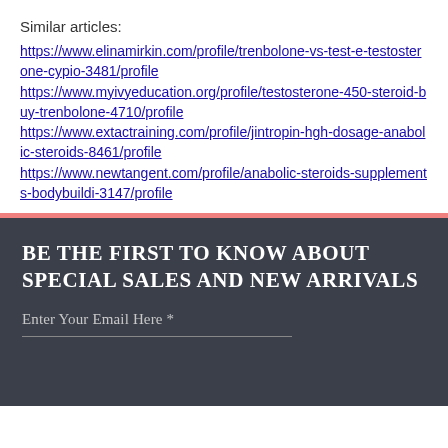Similar articles:
https://www.elinamirkin.com/profile/trenbolone-vs-test-e-testosterone-cypio-3481/profile
https://www.myivyeducation.org/profile/testosterone-450-steroid-buy-trenbolone-4710/profile
https://www.extactraining.com/profile/jintropin-hgh-dosage-anabolic-steroids-8461/profile
https://www.newtangent.com/profile/anabolic-steroids-supplements-bodybuildi-3147/profile
BE THE FIRST TO KNOW ABOUT SPECIAL SALES AND NEW ARRIVALS
Enter Your Email Here *